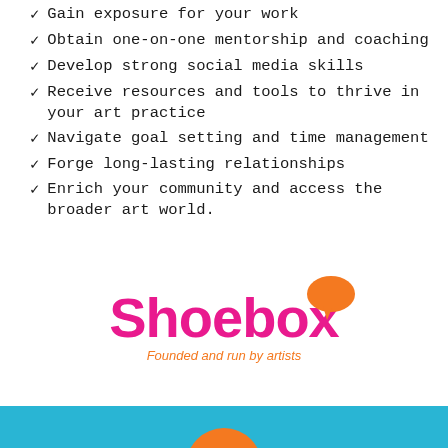Gain exposure for your work
Obtain one-on-one mentorship and coaching
Develop strong social media skills
Receive resources and tools to thrive in your art practice
Navigate goal setting and time management
Forge long-lasting relationships
Enrich your community and access the broader art world.
[Figure (logo): Shoebox logo with pink/magenta bold text 'Shoebox', an orange speech bubble over the 'o', and italic orange text 'Founded and run by artists' below]
[Figure (photo): Bottom strip showing a light blue background with partial orange circular shape visible]